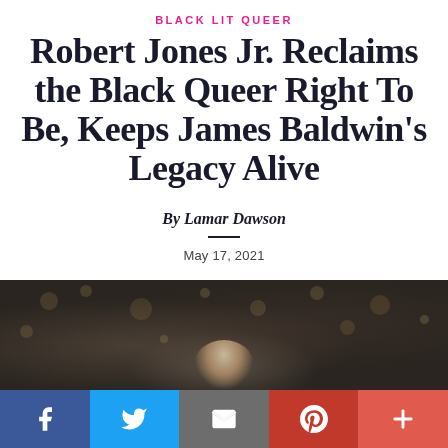BLACK LIT QUEER
Robert Jones Jr. Reclaims the Black Queer Right To Be, Keeps James Baldwin's Legacy Alive
By Lamar Dawson
May 17, 2021
[Figure (photo): Dark blurred background photo, likely of a person with bokeh lighting effects, with a light-colored chair or hat visible in the lower center.]